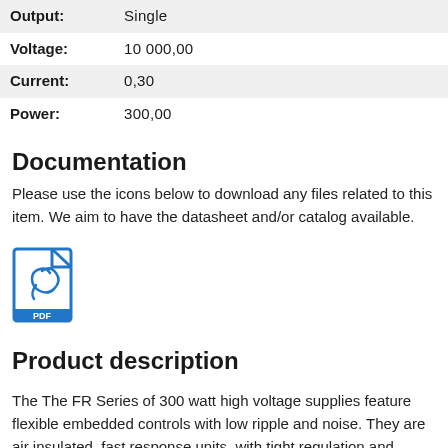| Label | Value |
| --- | --- |
| Output: | Single |
| Voltage: | 10 000,00 |
| Current: | 0,30 |
| Power: | 300,00 |
Documentation
Please use the icons below to download any files related to this item. We aim to have the datasheet and/or catalog available.
[Figure (illustration): PDF file icon with Adobe Acrobat logo and 'PDF' label, in blue outline style]
Product description
The The FR Series of 300 watt high voltage supplies feature flexible embedded controls with low ripple and noise. They are air insulated, fast response units, with tight regulation and extremely low arc discharge